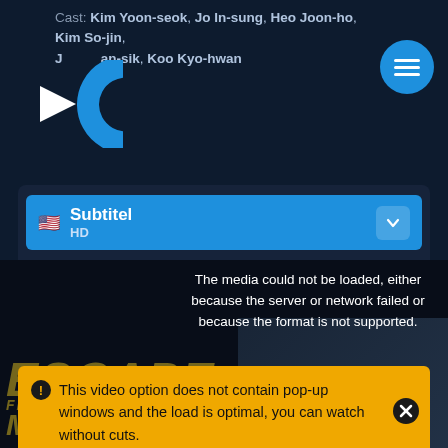Cast: Kim Yoon-seok, Jo In-sung, Heo Joon-ho, Kim So-jin, Jang Jae-man-sik, Koo Kyo-hwan
[Figure (logo): Streaming site logo with blue C shape and play button]
[Figure (illustration): Blue circle menu button with three horizontal lines]
Subtitel
HD
Download
HD
This video option does not contain pop-up windows and the load is optimal, you can watch without cuts.
The media could not be loaded, either because the server or network failed or because the format is not supported.
[Figure (screenshot): Movie poster background for Escape from Mogadishu with people in background]